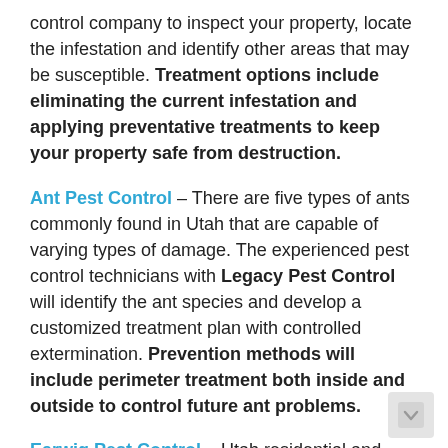control company to inspect your property, locate the infestation and identify other areas that may be susceptible. Treatment options include eliminating the current infestation and applying preventative treatments to keep your property safe from destruction.
Ant Pest Control – There are five types of ants commonly found in Utah that are capable of varying types of damage. The experienced pest control technicians with Legacy Pest Control will identify the ant species and develop a customized treatment plan with controlled extermination. Prevention methods will include perimeter treatment both inside and outside to control future ant problems.
Earwig Pest Control – Utah residential and commercial property owners dealing with an earwig infestation need